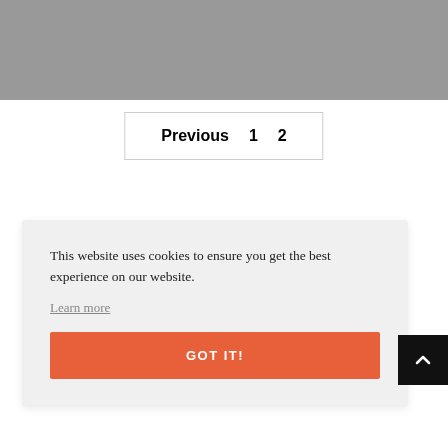[Figure (photo): Gray image placeholder at the top of the page]
Previous  1  2
This website uses cookies to ensure you get the best experience on our website.
Learn more
GOT IT!